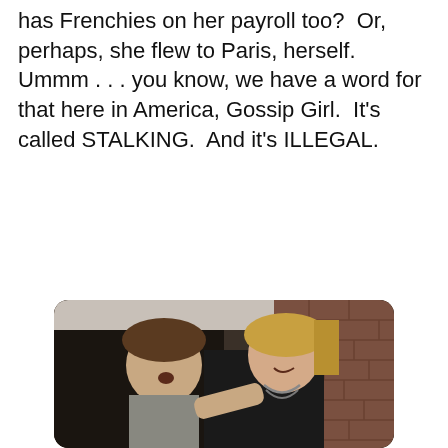Are we supposed to believe that this ambitious 25 year old has Frenchies on her payroll too?  Or, perhaps, she flew to Paris, herself.  Ummm . . . you know, we have a word for that here in America, Gossip Girl.  It's called STALKING.  And it's ILLEGAL.
[Figure (photo): Two young people at what appears to be a party or event. On the left, a young man with brown hair wearing a dark jacket and gray shirt, mouth open in surprise. On the right, a young woman with blonde hair wearing a black dress with a chain necklace, laughing. Brick wall visible in background.]